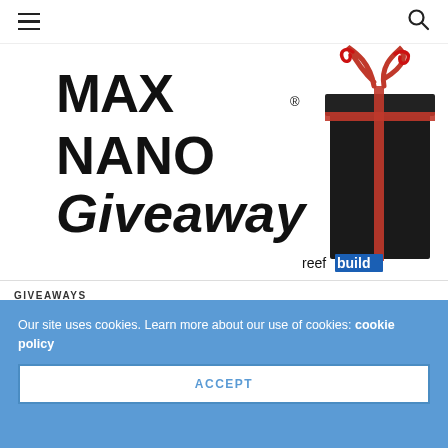Navigation menu and search icon
[Figure (illustration): MAX NANO Giveaway promotional image with bold text 'MAX NANO Giveaway' on left and a dark gift box with red ribbon on right, reefbuild logo in bottom right corner]
GIVEAWAYS
Win a Red Sea MAX NANO Plug & Play Reef System, Plus More Prizes!
NICOLE HELGASON - NOV 15, 2016   0
Our site uses cookies. Learn more about our use of cookies: cookie policy
ACCEPT